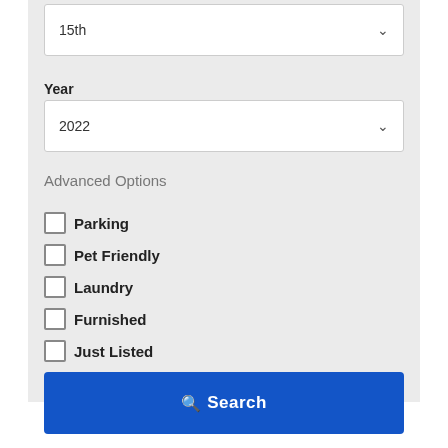[Figure (screenshot): Dropdown box showing '15th' with chevron arrow]
Year
[Figure (screenshot): Dropdown box showing '2022' with chevron arrow]
Advanced Options
Parking
Pet Friendly
Laundry
Furnished
Just Listed
[Figure (screenshot): Search button with magnifying glass icon]